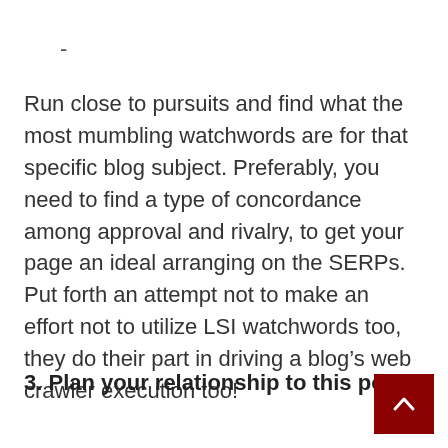-
Run close to pursuits and find what the most mumbling watchwords are for that specific blog subject. Preferably, you need to find a type of concordance among approval and rivalry, to get your page an ideal arranging on the SERPs. Put forth an attempt not to make an effort not to utilize LSI watchwords too, they do their part in driving a blog’s web crawler execution too!
3. Plan your relationship to this point